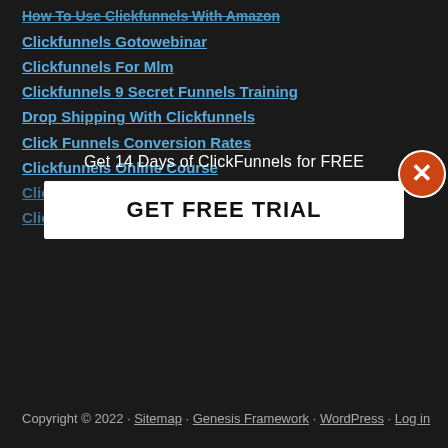Clickfunnels Gotowebinar
Clickfunnels For Mlm
Clickfunnels 9 Secret Funnels Training
Drop Shipping With Clickfunnels
Click Funnels Conversion Rates
Clickfunnels Online Course
Clickfunnels Account Löschen
Clickfunnels Worth
[Figure (infographic): Popup overlay with close (X) button, text 'Get 14 Days of ClickFunnels for FREE', and a white button labeled 'GET FREE TRIAL']
Copyright © 2022 · Sitemap · Genesis Framework · WordPress · Log in